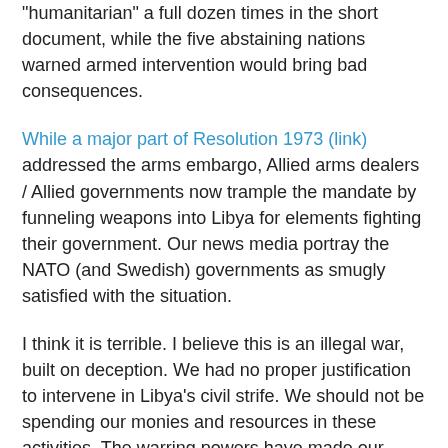"humanitarian" a full dozen times in the short document, while the five abstaining nations warned armed intervention would bring bad consequences.
While a major part of Resolution 1973 (link) addressed the arms embargo, Allied arms dealers / Allied governments now trample the mandate by funneling weapons into Libya for elements fighting their government. Our news media portray the NATO (and Swedish) governments as smugly satisfied with the situation.
I think it is terrible. I believe this is an illegal war, built on deception. We had no proper justification to intervene in Libya's civil strife. We should not be spending our monies and resources in these activities. The warring powers have made our world less safe. By targeting the Libyan government as "enemy" we ourselves become enemy targets.
The program was marketed by warring powers as a "no-fly zone" and it's now clear more explanation should have been demanded. NATO is widely destroying Libyan government